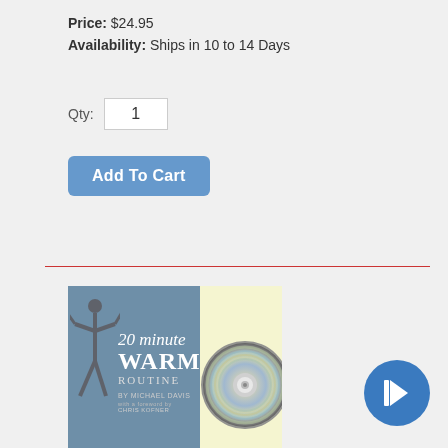Price: $24.95
Availability: Ships in 10 to 14 Days
Qty: 1
Add To Cart
View Shopping Cart
[Figure (photo): Book cover for '20 minute WARM-UP ROUTINE by Michael Davis' shown alongside a CD disc, with a pale yellow background panel. A shadow of drumsticks appears on the book cover.]